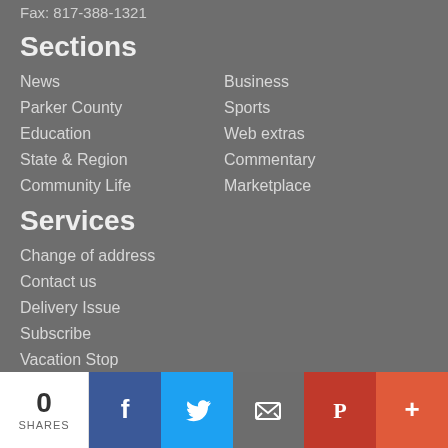Fax: 817-388-1321
Sections
News
Business
Parker County
Sports
Education
Web extras
State & Region
Commentary
Community Life
Marketplace
Services
Change of address
Contact us
Delivery Issue
Subscribe
Vacation Stop
Privacy policy
Our communities
City of Aledo
0 SHARES | Facebook | Twitter | Email | Pinterest | More